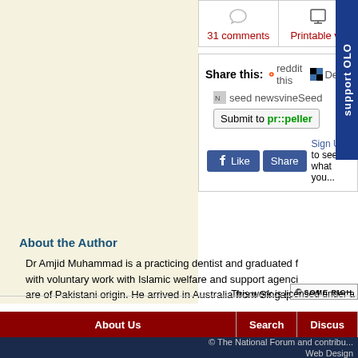[Figure (screenshot): 31 comments link with chat bubble icon]
[Figure (screenshot): Printable version link with printer icon]
[Figure (screenshot): Share this bar with reddit, Del, seed newsvine links, Submit to propeller button, and Facebook Like/Share buttons]
[Figure (screenshot): Support OLO vertical tab on the right side]
About the Author
Dr Amjid Muhammad is a practicing dentist and graduated f... with voluntary work with Islamic welfare and support agenci... are of Pakistani origin. He arrived in Australia from Singapor...
[Figure (logo): Creative Commons Some Rights Reserved badge]
This work is licensed under a
About Us | Search | Discus...
© The National Forum and contribu... Web Design